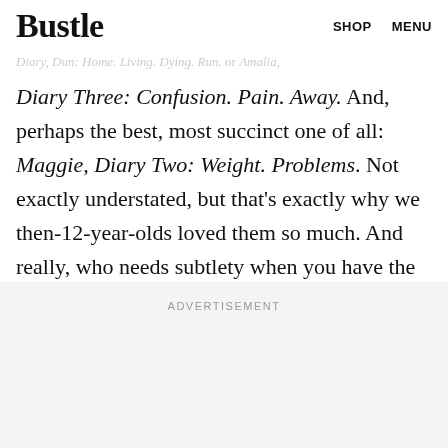Bustle   SHOP   MENU
Diary Three: Confusion. Pain. Away. And, perhaps the best, most succinct one of all: Maggie, Diary Two: Weight. Problems. Not exactly understated, but that's exactly why we then-12-year-olds loved them so much. And really, who needs subtlety when you have the mature, addicting melodrama that is California Diaries?
ADVERTISEMENT